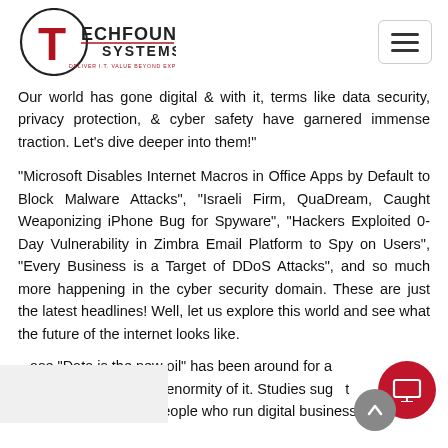[Figure (logo): TechFount Systems logo — a red T inside a circle with the text TECHFOUNT SYSTEMS and tagline DELIVER I.T. VALUE BEYOND EXPECTATIONS]
Our world has gone digital & with it, terms like data security, privacy protection, & cyber safety have garnered immense traction. Let's dive deeper into them!"
"Microsoft Disables Internet Macros in Office Apps by Default to Block Malware Attacks", "Israeli Firm, QuaDream, Caught Weaponizing iPhone Bug for Spyware", "Hackers Exploited 0-Day Vulnerability in Zimbra Email Platform to Spy on Users", "Every Business is a Target of DDoS Attacks", and so much more happening in the cyber security domain. These are just the latest headlines! Well, let us explore this world and see what the future of the internet looks like.
ase "Data is the new oil" has been around for a... t not many grasp the enormity of it. Studies sug... t the future belongs to people who run digital businesses rather